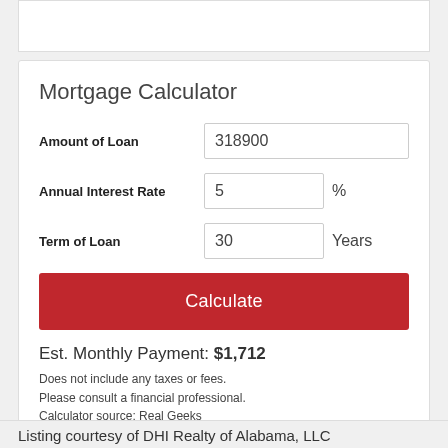Mortgage Calculator
Amount of Loan: 318900
Annual Interest Rate: 5 %
Term of Loan: 30 Years
Calculate
Est. Monthly Payment: $1,712
Does not include any taxes or fees.
Please consult a financial professional.
Calculator source: Real Geeks
Listing courtesy of DHI Realty of Alabama, LLC